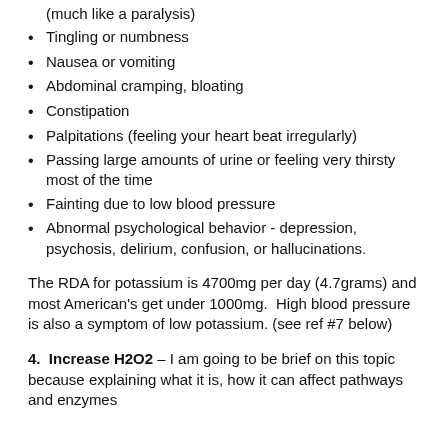(much like a paralysis)
Tingling or numbness
Nausea or vomiting
Abdominal cramping, bloating
Constipation
Palpitations (feeling your heart beat irregularly)
Passing large amounts of urine or feeling very thirsty most of the time
Fainting due to low blood pressure
Abnormal psychological behavior - depression, psychosis, delirium, confusion, or hallucinations.
The RDA for potassium is 4700mg per day (4.7grams) and most American's get under 1000mg.  High blood pressure is also a symptom of low potassium. (see ref #7 below)
4.  Increase H2O2 – I am going to be brief on this topic because explaining what it is, how it can affect pathways and enzymes